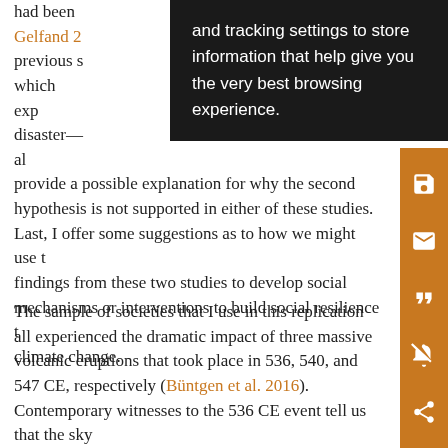had been … and Gelfand 2… previous s… of which exp… late disaster— … I also provide a possible explanation for why the second hypothesis is not supported in either of these studies. Last, I offer some suggestions as to how we might use the findings from these two studies to develop social mechanisms or interventions to build social resilience to climate change.
[Figure (screenshot): Browser tooltip/cookie overlay with dark background showing text: 'and tracking settings to store information that help give you the very best browsing experience.']
The sample of societies that I use in this replication all experienced the dramatic impact of three massive volcanic eruptions that took place in 536, 540, and 547 CE, respectively (Büntgen et al. 2016). Contemporary witnesses to the 536 CE event tell us that the sky